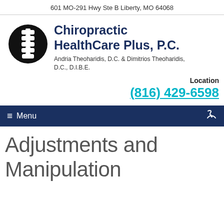601 MO-291 Hwy Ste B Liberty, MO 64068
[Figure (logo): Chiropractic spine logo: white spine/vertebrae illustration on black circle background]
Chiropractic HealthCare Plus, P.C.
Andria Theoharidis, D.C. & Dimitrios Theoharidis, D.C., D.I.B.E.
Location
(816) 429-6598
≡ Menu
Adjustments and Manipulation